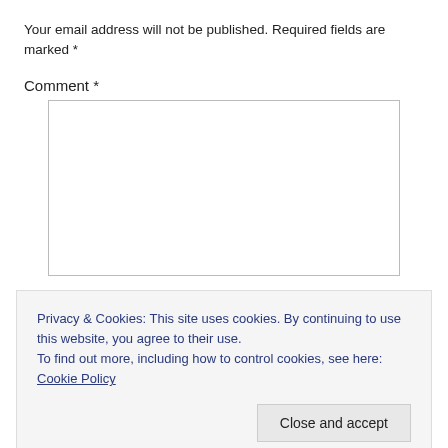Your email address will not be published. Required fields are marked *
Comment *
[Figure (other): Empty comment text area input box with border]
Privacy & Cookies: This site uses cookies. By continuing to use this website, you agree to their use.
To find out more, including how to control cookies, see here: Cookie Policy
Close and accept
Email *